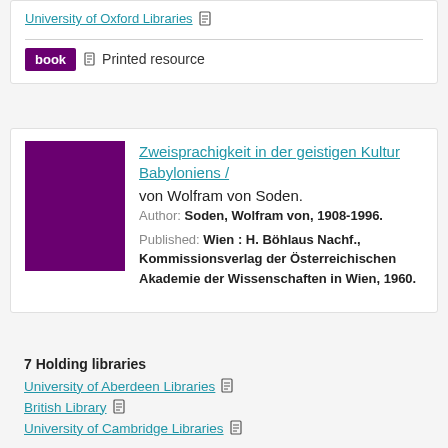University of Oxford Libraries
book  Printed resource
Zweisprachigkeit in der geistigen Kultur Babyloniens / von Wolfram von Soden.
Author: Soden, Wolfram von, 1908-1996.
Published: Wien : H. Böhlaus Nachf., Kommissionsverlag der Österreichischen Akademie der Wissenschaften in Wien, 1960.
7 Holding libraries
University of Aberdeen Libraries
British Library
University of Cambridge Libraries